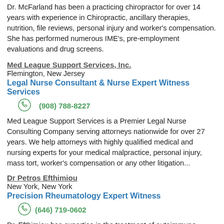Dr. McFarland has been a practicing chiropractor for over 14 years with experience in Chiropractic, ancillary therapies, nutrition, file reviews, personal injury and worker's compensation. She has performed numerous IME's, pre-employment evaluations and drug screens.
Med League Support Services, Inc.
Flemington, New Jersey
Legal Nurse Consultant & Nurse Expert Witness Services
(908) 788-8227
Med League Support Services is a Premier Legal Nurse Consulting Company serving attorneys nationwide for over 27 years. We help attorneys with highly qualified medical and nursing experts for your medical malpractice, personal injury, mass tort, worker's compensation or any other litigation...
Dr Petros Efthimiou
New York, New York
Precision Rheumatology Expert Witness
(646) 719-0602
Dr. Efthimiou has expertise in the treatment of autoimmune disorders including Rheumatoid Arthritis, Psoriatic arthritis, gout, osteoarthritis, myositis, SLE-lupus, Sjogren's syndrome, Vasculitis, Pulmonary